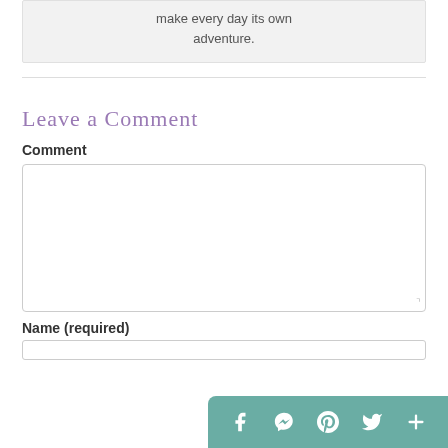make every day its own adventure.
Leave a Comment
Comment
Name (required)